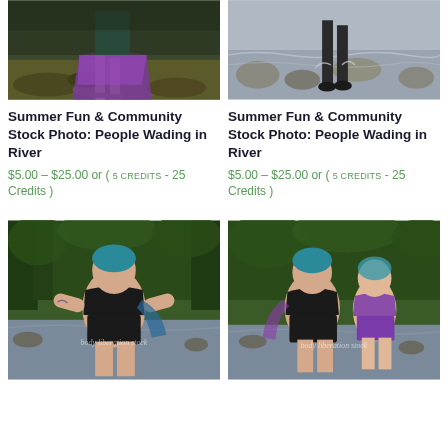[Figure (photo): Top-left: woman in purple skirt standing on mossy rocks near river, lower body visible]
Summer Fun & Community Stock Photo: People Wading in River
$5.00 – $25.00 or ( 5 CREDITS - 25 Credits )
[Figure (photo): Top-right: person wading in shallow river over rocks, lower body visible]
Summer Fun & Community Stock Photo: People Wading in River
$5.00 – $25.00 or ( 5 CREDITS - 25 Credits )
[Figure (photo): Bottom-left: plus-size person in black swimsuit wading in river with green trees behind, body liberation stock watermark]
[Figure (photo): Bottom-right: two people in swimsuits wading in river with green trees behind, body liberation stock watermark]